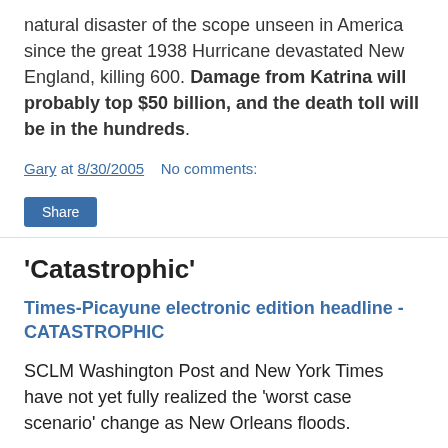natural disaster of the scope unseen in America since the great 1938 Hurricane devastated New England, killing 600. Damage from Katrina will probably top $50 billion, and the death toll will be in the hundreds.
Gary at 8/30/2005    No comments:
Share
'Catastrophic'
Times-Picayune electronic edition headline - CATASTROPHIC
SCLM Washington Post and New York Times have not yet fully realized the 'worst case scenario' change as New Orleans floods.